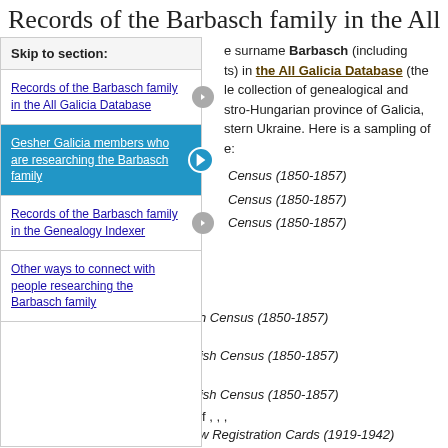Records of the Barbasch family in the All
Skip to section:
Records of the Barbasch family in the All Galicia Database
Gesher Galicia members who are researching the Barbasch family
Records of the Barbasch family in the Genealogy Indexer
Other ways to connect with people researching the Barbasch family
e surname Barbasch (including ts) in the All Galicia Database (the le collection of genealogical and stro-Hungarian province of Galicia, stern Ukraine. Here is a sampling of e:
Census (1850-1857)
Census (1850-1857)
Census (1850-1857)
census record from Brody Jewish Census (1850-1857)
Ruchel BARBASCH
census record from Brody Jewish Census (1850-1857)
Jossel BARBASCH
census record from Brody Jewish Census (1850-1857)
Tauba BARBASZ, grandchild of , , ,
Holocaust record from Rzeszów Registration Cards (1919-1942)